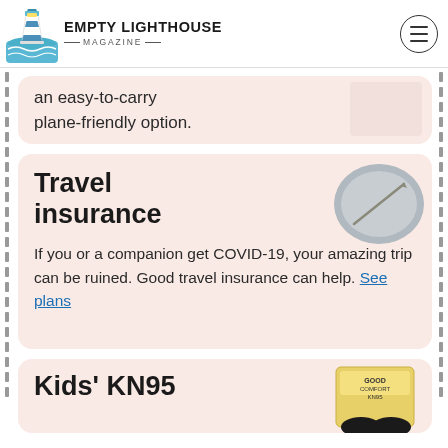EMPTY LIGHTHOUSE MAGAZINE
an easy-to-carry plane-friendly option.
Travel insurance
If you or a companion get COVID-19, your amazing trip can be ruined. Good travel insurance can help. See plans
Kids' KN95